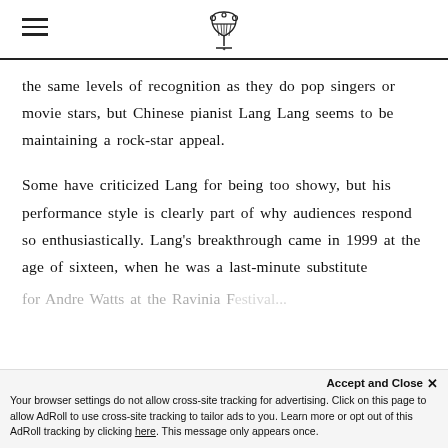[hamburger menu] [lyre logo]
the same levels of recognition as they do pop singers or movie stars, but Chinese pianist Lang Lang seems to be maintaining a rock-star appeal.
Some have criticized Lang for being too showy, but his performance style is clearly part of why audiences respond so enthusiastically. Lang’s breakthrough came in 1999 at the age of sixteen, when he was a last-minute substitute
for Andre Watts at the Ravinia F[...]
Accept and Close ×
Your browser settings do not allow cross-site tracking for advertising. Click on this page to allow AdRoll to use cross-site tracking to tailor ads to you. Learn more or opt out of this AdRoll tracking by clicking here. This message only appears once.